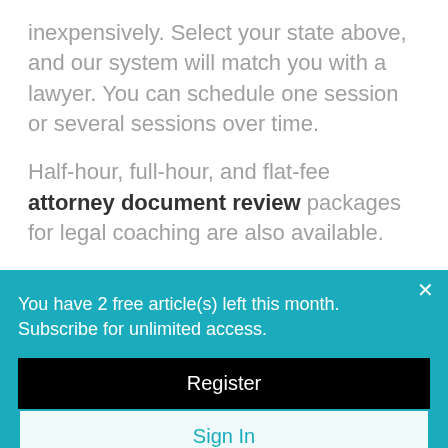inexpensively. Select your state above, and our system will match you with a lawyer. You can schedule one session or several sessions over time.
Half-hour, full-hour, and flat-fee attorney document review packages for legal coaching are also available.
You have 2 free article(s) left this month. Subscribe for unlimited access.
Register
Sign In